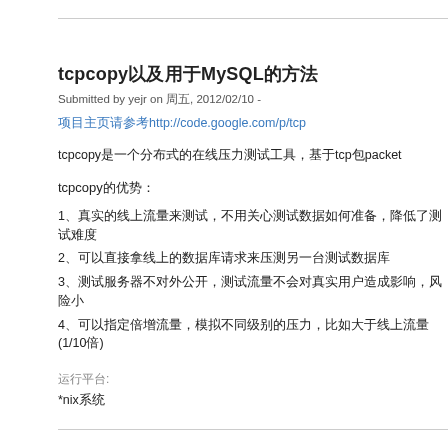tcpcopy以及用于MySQL的方法
Submitted by yejr on 周五, 2012/02/10 -
项目主页请参考http://code.google.com/p/tcp
tcpcopy是一个分布式的在线压力测试工具，基于tcp包packet
tcpcopy的优势：
1、真实的线上流量来测试，不用关心测试数据如何准备，降低了测试难度
2、可以直接拿线上的数据库请求来压测另一台测试数据库
3、测试服务器不对外公开，测试流量不会对真实用户造成影响，风险小
4、可以指定倍增流量，模拟不同级别的压力，比如大于线上流量(1/10倍)
运行平台:
*nix系统